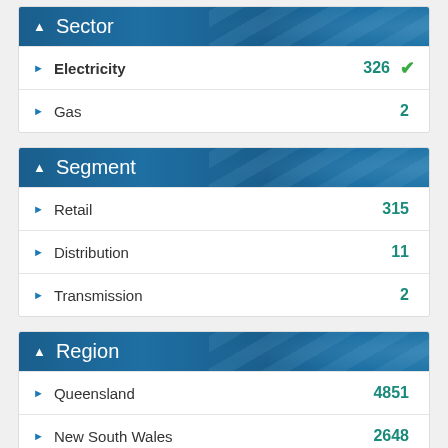Sector
Electricity 326
Gas 2
Segment
Retail 315
Distribution 11
Transmission 2
Region
Queensland 4851
New South Wales 2648
Victoria 1659
South Australia 1299
Australian Capital Territory 388